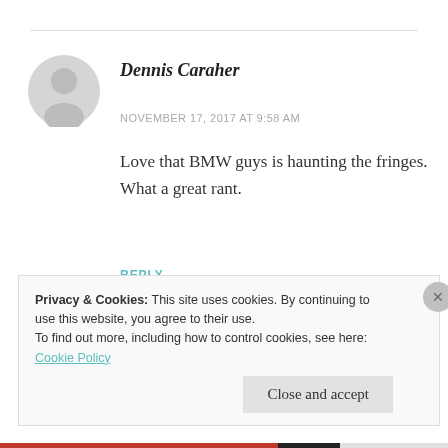[Figure (illustration): Gray silhouette avatar icon of a person (default user profile picture)]
Dennis Caraher
NOVEMBER 17, 2017 AT 9:58 AM
Love that BMW guys is haunting the fringes. What a great rant.
REPLY
Privacy & Cookies: This site uses cookies. By continuing to use this website, you agree to their use.
To find out more, including how to control cookies, see here: Cookie Policy
Close and accept